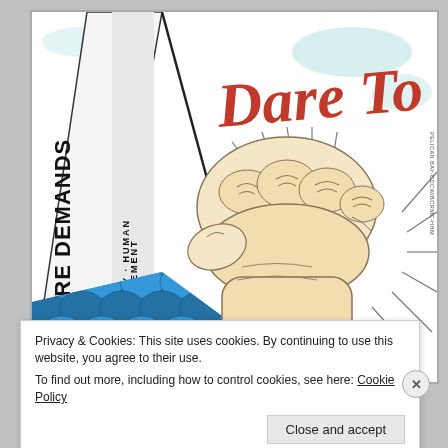[Figure (illustration): Artwork showing a raised fist in the center, with text '5 CORE DEMANDS' vertically on the left side, 'PELICAN BAY HUMAN RIGHTS MOVEMENT' in a vertical band, cursive red text 'Dare To' at top right, blue fish-scale pattern at bottom left, and a red octagon sign reading 'END' at the bottom.]
Privacy & Cookies: This site uses cookies. By continuing to use this website, you agree to their use.
To find out more, including how to control cookies, see here: Cookie Policy
Close and accept